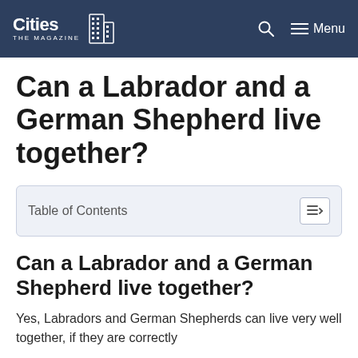Cities THE MAGAZINE | Menu
Can a Labrador and a German Shepherd live together?
| Table of Contents |
| --- |
Can a Labrador and a German Shepherd live together?
Yes, Labradors and German Shepherds can live very well together, if they are correctly